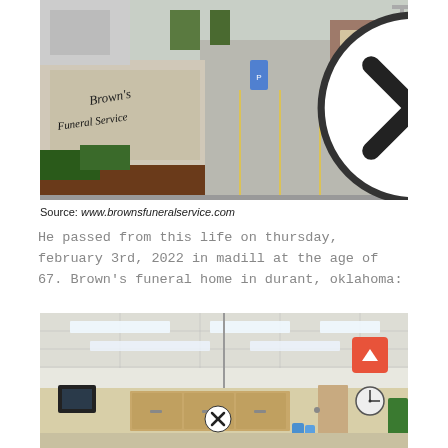[Figure (photo): Exterior photo of Brown's Funeral Service building with parking lot and sign in foreground. A close/X button overlay is visible near the top center.]
Source: www.brownsfuneralservice.com
He passed from this life on thursday, february 3rd, 2022 in madill at the age of 67. Brown’s funeral home in durant, oklahoma:
[Figure (photo): Interior photo of Brown's Funeral Service showing reception/lobby area with drop ceiling, fluorescent lights, wooden cabinets, clock on wall, and TV mounted on wall. A close/X button overlay is visible near the bottom center. An up-arrow scroll button is visible in the upper right.]